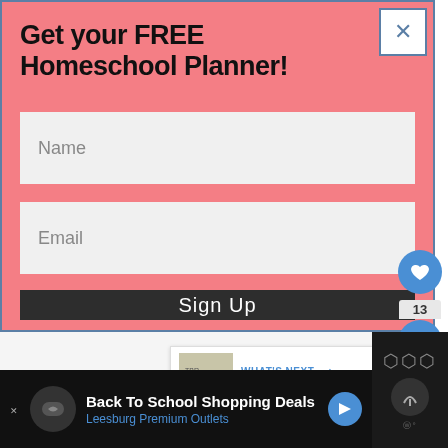Get your FREE Homeschool Planner!
Name
Email
Sign Up
WHAT'S NEXT → Easter Cut and Paste...
Back To School Shopping Deals
Leesburg Premium Outlets